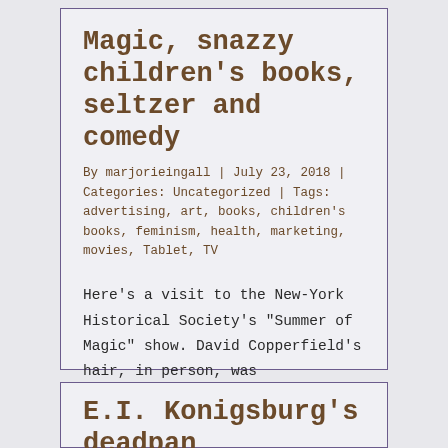Magic, snazzy children's books, seltzer and comedy
By marjorieingall | July 23, 2018 | Categories: Uncategorized | Tags: advertising, art, books, children's books, feminism, health, marketing, movies, Tablet, TV
Here's a visit to the New-York Historical Society's "Summer of Magic" show. David Copperfield's hair, in person, was MESMERIZING.  And [...]
Read More ›
1
E.I. Konigsburg's deadpan